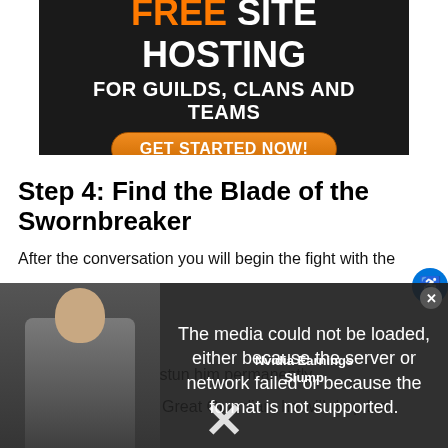[Figure (screenshot): Advertisement banner: FREE SITE HOSTING FOR GUILDS, CLANS AND TEAMS with GET STARTED NOW! button]
Step 4: Find the Blade of the Swornbreaker
After the conversation you will begin the fight with the
[Figure (screenshot): Video player overlay showing error: The media could not be loaded, either because the server or network failed or because the format is not supported. With Nvidia Earnings Slump title visible and an X mark.]
Guardian -- this will stun him permanently.
After you defeat the Great Guardian, he will drop loot,